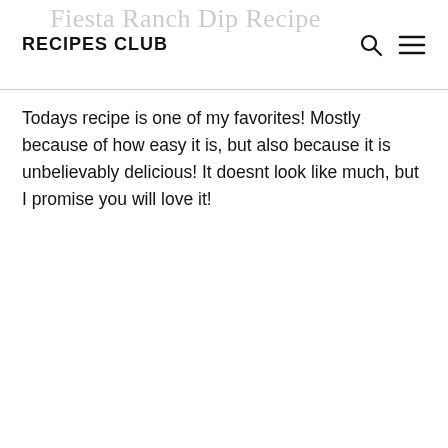RECIPES CLUB
Fiesta Ranch Dip Recipe
Todays recipe is one of my favorites! Mostly because of how easy it is, but also because it is unbelievably delicious! It doesnt look like much, but I promise you will love it!